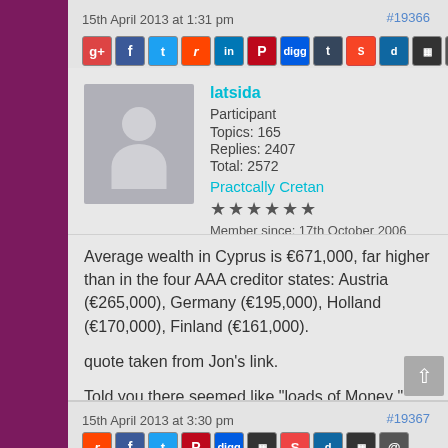15th April 2013 at 1:31 pm   #19366
latsida
Participant
Topics: 165
Replies: 2407
Total: 2572
Practcally Cretan
★★★★★★
Member since: 17th October 2006
Average wealth in Cyprus is €671,000, far higher than in the four AAA creditor states: Austria (€265,000), Germany (€195,000), Holland (€170,000), Finland (€161,000).
quote taken from Jon's link.
Told you there seemed like "loads of Money " there :D :D
15th April 2013 at 3:30 pm   #19367